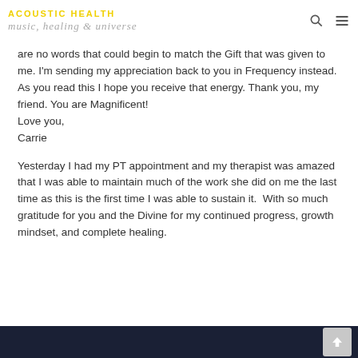ACOUSTIC HEALTH | Music, Healing, Universe
are no words that could begin to match the Gift that was given to me. I'm sending my appreciation back to you in Frequency instead. As you read this I hope you receive that energy. Thank you, my friend. You are Magnificent! Love you,
Carrie
Yesterday I had my PT appointment and my therapist was amazed that I was able to maintain much of the work she did on me the last time as this is the first time I was able to sustain it.  With so much gratitude for you and the Divine for my continued progress, growth mindset, and complete healing.